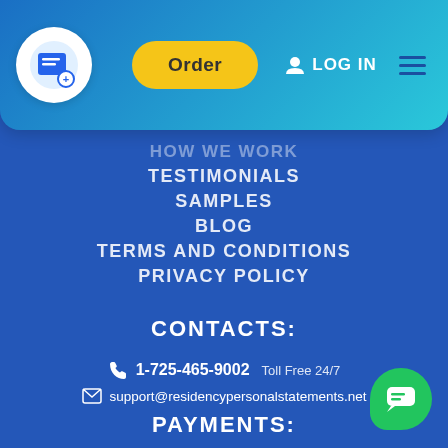[Figure (screenshot): Website navigation header with logo, Order button (yellow), LOG IN link, and hamburger menu on a blue-to-cyan gradient background]
HOW WE WORK
TESTIMONIALS
SAMPLES
BLOG
TERMS AND CONDITIONS
PRIVACY POLICY
CONTACTS:
1-725-465-9002  Toll Free 24/7
support@residencypersonalstatements.net
PAYMENTS: